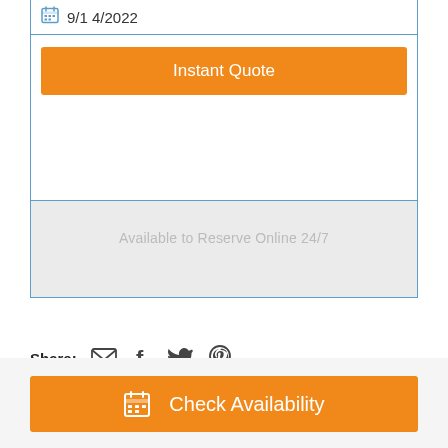9/14/2022
Instant Quote
Available to Reserve Online 24/7
Share:
[Figure (infographic): Social share icons: email, facebook, twitter, pinterest]
Check Availability